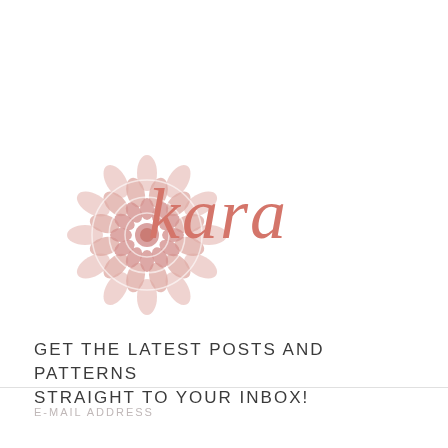[Figure (logo): Floral mandala logo with pink petals and the cursive word 'kara' in dusty rose/salmon color]
GET THE LATEST POSTS AND PATTERNS STRAIGHT TO YOUR INBOX!
E-MAIL ADDRESS